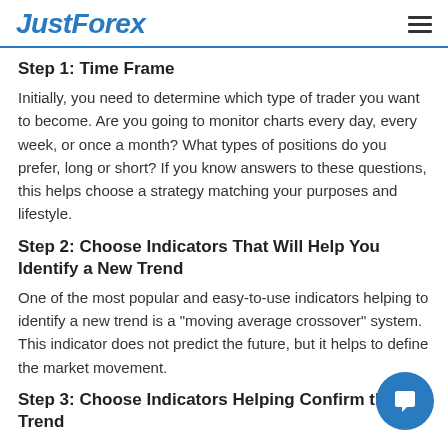JustForex
Step 1: Time Frame
Initially, you need to determine which type of trader you want to become. Are you going to monitor charts every day, every week, or once a month? What types of positions do you prefer, long or short? If you know answers to these questions, this helps choose a strategy matching your purposes and lifestyle.
Step 2: Choose Indicators That Will Help You Identify a New Trend
One of the most popular and easy-to-use indicators helping to identify a new trend is a "moving average crossover" system. This indicator does not predict the future, but it helps to define the market movement.
Step 3: Choose Indicators Helping Confirm the Trend